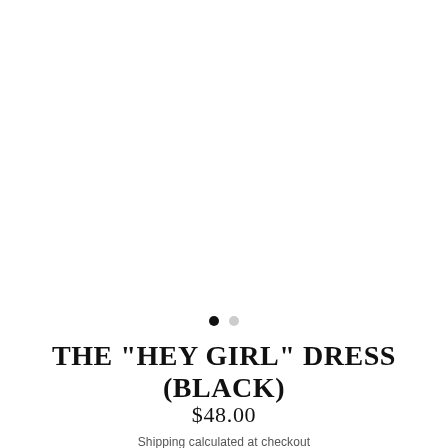[Figure (photo): Large white/blank product image area for the Hey Girl dress in black]
THE "HEY GIRL" DRESS (BLACK)
$48.00
Shipping calculated at checkout